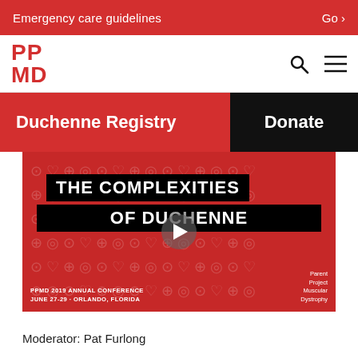Emergency care guidelines    Go >
[Figure (logo): PPMD (Parent Project Muscular Dystrophy) logo in red, with search and menu icons]
Duchenne Registry
Donate
[Figure (screenshot): Video thumbnail for PPMD 2019 Annual Conference session titled 'The Complexities of Duchenne', June 27-29, Orlando, Florida. Red background with geometric icon patterns, black title bands with white text, play button overlay, Parent Project Muscular Dystrophy logo.]
Moderator: Pat Furlong